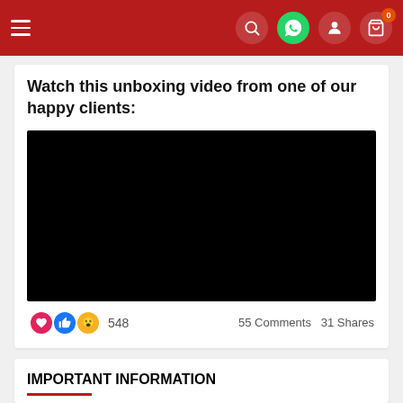Navigation bar with hamburger menu, search, WhatsApp, user, and cart icons
Watch this unboxing video from one of our happy clients:
[Figure (screenshot): Embedded video player showing a black/blank video screen]
548  55 Comments  31 Shares
IMPORTANT INFORMATION